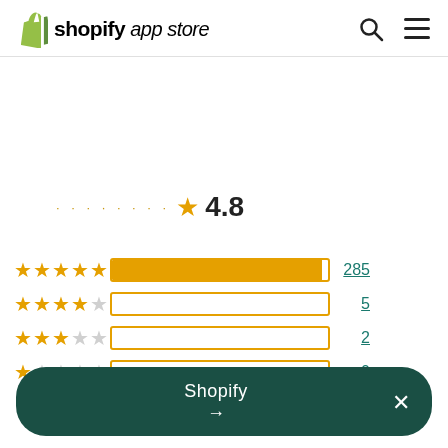shopify app store
★ 4.8
[Figure (bar-chart): Rating breakdown]
Shopify →